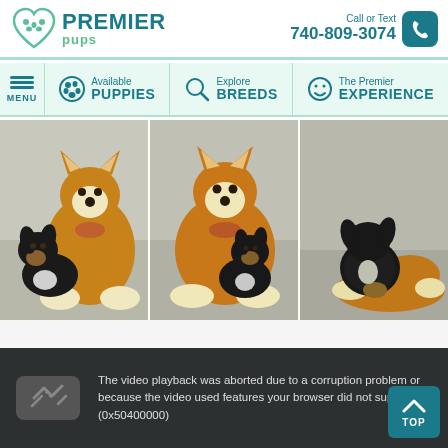[Figure (logo): Premier Pups logo with heart and paw print, teal color scheme]
Call or Text 740-809-3074
[Figure (infographic): Navigation bar with MENU, Available PUPPIES, Explore BREEDS, The Premier EXPERIENCE]
[Figure (photo): Three photos of small black puppies posed with large stuffed fox/bear plush toys on a light wood floor]
[Figure (screenshot): Dark video player area showing broken video icon and error message: The video playback was aborted due to a corruption problem or because the video used features your browser did not support. (0x50400000)]
The video playback was aborted due to a corruption problem or because the video used features your browser did not support. (0x50400000)